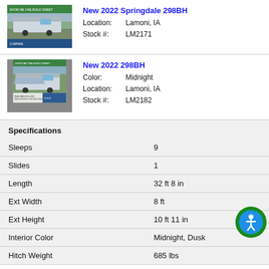[Figure (photo): RV trailer photo thumbnail for New 2022 Springdale 298BH listing]
New 2022 Springdale 298BH
Location: Lamoni, IA
Stock #: LM2171
[Figure (photo): RV trailer photo thumbnail for New 2022 298BH listing]
New 2022 298BH
Color: Midnight
Location: Lamoni, IA
Stock #: LM2182
Specifications
| Spec | Value |
| --- | --- |
| Sleeps | 9 |
| Slides | 1 |
| Length | 32 ft 8 in |
| Ext Width | 8 ft |
| Ext Height | 10 ft 11 in |
| Interior Color | Midnight, Dusk |
| Hitch Weight | 685 lbs |